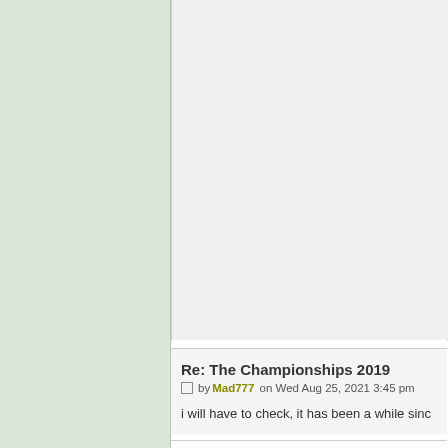[Figure (other): Left sidebar with light green background]
[Figure (other): Right content area with light gray background (top post area, empty)]
Re: The Championships 2019
by Mad777 on Wed Aug 25, 2021 3:45 pm
i will have to check, it has been a while sinc